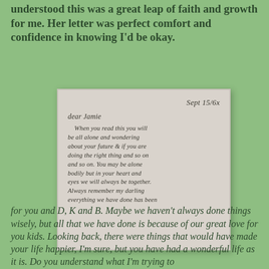understood this was a great leap of faith and growth for me. Her letter was perfect comfort and confidence in knowing I'd be okay.
[Figure (photo): A scanned handwritten letter dated Sept 15/6x, beginning 'Dear Jamie', written in cursive on aged paper with pinkish-beige background. The letter discusses being alone, one's future, doing the right thing, and always being together in spirit.]
for you and D, K and B. Maybe we haven't always done things wisely, but all that we have done is because of our great love for you kids. Looking back, there were things that would have made your life happier, I'm sure, but you have had a wonderful life as it is. Do you understand what I'm trying to